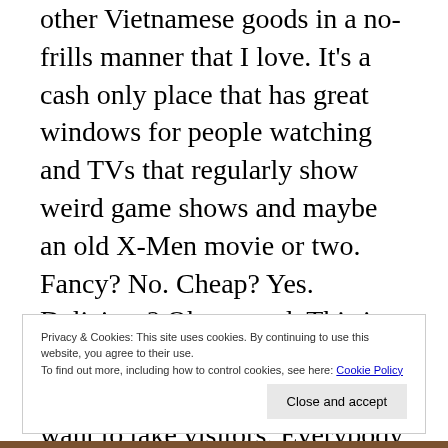other Vietnamese goods in a no-frills manner that I love. It's a cash only place that has great windows for people watching and TVs that regularly show weird game shows and maybe an old X-Men movie or two. Fancy? No. Cheap? Yes. Delicious? Oh my god. This is my favorite place to come when I feel off, need a pick-me-up, or want to take visitors. Everybody who has visited me has been taken here, without exception. My loyalty and love for Pho Vy will never die. As a Montanan who comes from a pho-free land, being
Privacy & Cookies: This site uses cookies. By continuing to use this website, you agree to their use.
To find out more, including how to control cookies, see here: Cookie Policy
Close and accept